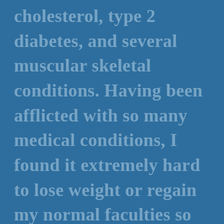cholesterol, type 2 diabetes, and several muscular skeletal conditions. Having been afflicted with so many medical conditions, I found it extremely hard to lose weight or regain my normal faculties so that I could live a decent life. Each day was touch and go for me as I was in a devastating state of consciousness. Although I tried hysterically internally, I tried to smile, and I often isolated myself from everything, including family, friends, or any social situation since my weight grew heavier with each passing day.